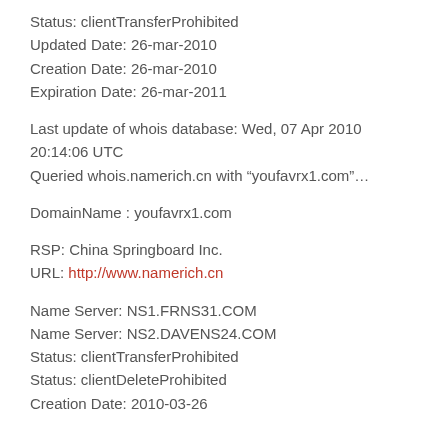Status: clientTransferProhibited
Updated Date: 26-mar-2010
Creation Date: 26-mar-2010
Expiration Date: 26-mar-2011
Last update of whois database: Wed, 07 Apr 2010 20:14:06 UTC
Queried whois.namerich.cn with “youfavrx1.com”…
DomainName : youfavrx1.com
RSP: China Springboard Inc.
URL: http://www.namerich.cn
Name Server: NS1.FRNS31.COM
Name Server: NS2.DAVENS24.COM
Status: clientTransferProhibited
Status: clientDeleteProhibited
Creation Date: 2010-03-26